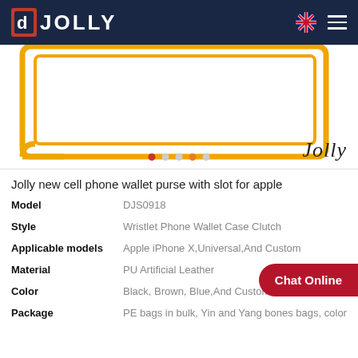JOLLY
[Figure (photo): Product image area showing orange-bordered phone wallet case outline with Jolly watermark and carousel dots at bottom]
Jolly new cell phone wallet purse with slot for apple
| Model | DJS0918 |
| Style | Wristlet Phone Wallet Case Clutch |
| Applicable models | Apple iPhone X,Universal,And Custom |
| Material | PU Artificial Leather |
| Color | Black, Brown, Blue,And Custom |
| Package | PE bags in bulk, Yin and Yang bones bags, color |